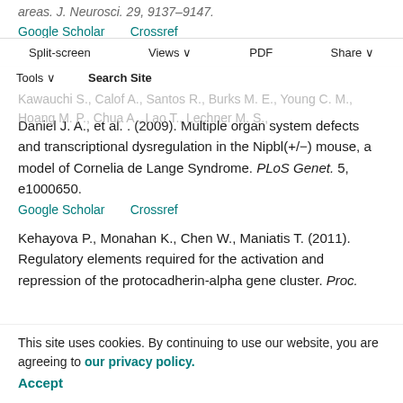areas. J. Neurosci. 29, 9137–9147.
Google Scholar   Crossref
Split-screen   Views   PDF   Share   Tools   Search Site
Kawauchi S., Calof A., Santos R., Burks M. E., Young C. M., Hoang M. P., Chua A., Lao T., Lechner M. S., Daniel J. A., et al. . (2009). Multiple organ system defects and transcriptional dysregulation in the Nipbl(+/−) mouse, a model of Cornelia de Lange Syndrome. PLoS Genet. 5, e1000650.
Google Scholar   Crossref
Kehayova P., Monahan K., Chen W., Maniatis T. (2011). Regulatory elements required for the activation and repression of the protocadherin-alpha gene cluster. Proc. Natl. Acad. Sci. USA 108, 17195–17200.
Google Scholar   Crossref
Kim S. Y., Yasuda S., Tanaka H., Yamagata K., Kim H. (2011). Non-clustered protocadherin. Cell Adh. Migr. 5, 97–105.
This site uses cookies. By continuing to use our website, you are agreeing to our privacy policy. Accept